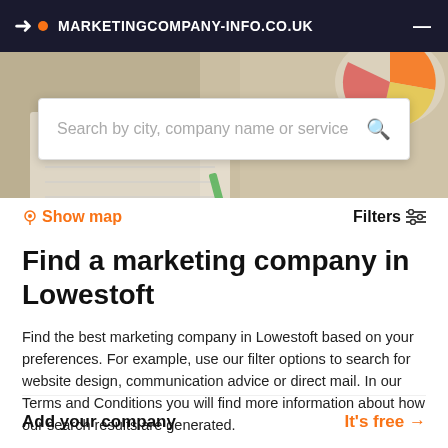MARKETINGCOMPANY-INFO.CO.UK
[Figure (screenshot): Background image showing a marketing/analytics scene with charts, notebooks and pencils, with a search bar overlay]
Search by city, company name or service
Show map
Filters
Find a marketing company in Lowestoft
Find the best marketing company in Lowestoft based on your preferences. For example, use our filter options to search for website design, communication advice or direct mail. In our Terms and Conditions you will find more information about how our search results are generated.
Add your company
It's free →